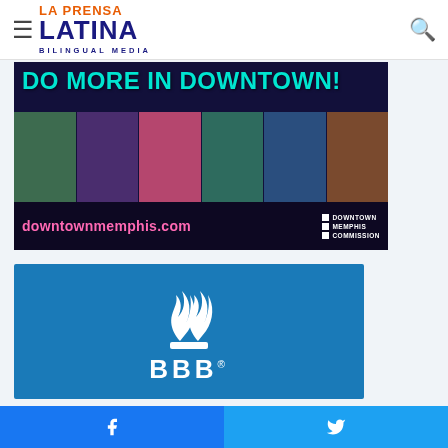La Prensa Latina Bilingual Media — header navigation
[Figure (illustration): Downtown Memphis Commission advertisement banner reading 'DO MORE IN DOWNTOWN!' with photo collage of activities and website downtownmemphis.com]
[Figure (logo): Better Business Bureau (BBB) logo — white flame symbol and BBB text on blue background]
[Figure (infographic): Social share bar with Facebook and Twitter share buttons]